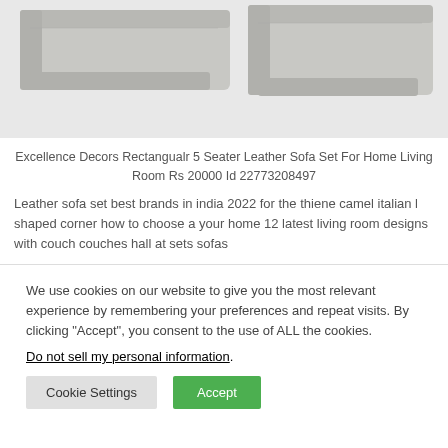[Figure (photo): Partial view of a light gray leather sofa set, showing two pieces of furniture from above/side angle]
Excellence Decors Rectangualr 5 Seater Leather Sofa Set For Home Living Room Rs 20000 Id 22773208497
Leather sofa set best brands in india 2022 for the thiene camel italian l shaped corner how to choose a your home 12 latest living room designs with couch couches hall at sets sofas
We use cookies on our website to give you the most relevant experience by remembering your preferences and repeat visits. By clicking “Accept”, you consent to the use of ALL the cookies.
Do not sell my personal information.
Cookie Settings  Accept